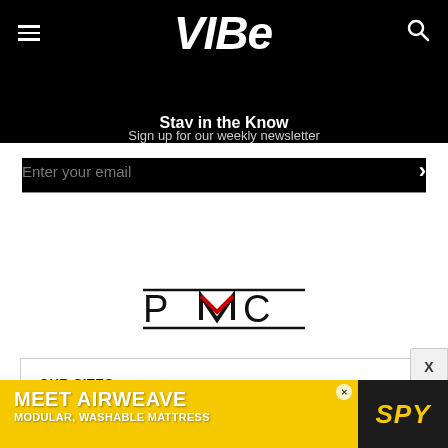VIBE
Stay in the Know
Sign up for our weekly newsletter
Enter your email
[Figure (logo): PMC (Penske Media Corporation) logo in black and white with a red chevron mark]
OUR SITES
Vibe is a part of Penske Media Corporation. © 2022 Vibe Media, LLC. All Rights Reserved. Powered by WordPress.com VIP
[Figure (infographic): Advertisement banner for Airweave modular washable mattress with SPY logo on yellow background]